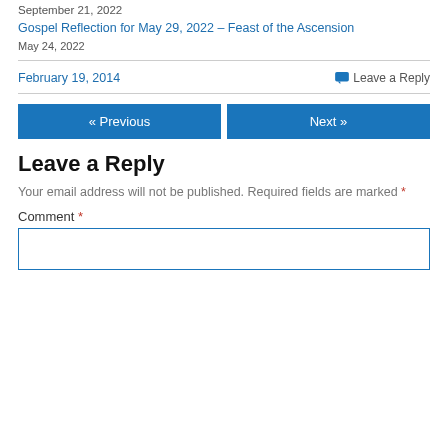September 21, 2022
Gospel Reflection for May 29, 2022 – Feast of the Ascension
May 24, 2022
February 19, 2014
Leave a Reply
« Previous
Next »
Leave a Reply
Your email address will not be published. Required fields are marked *
Comment *